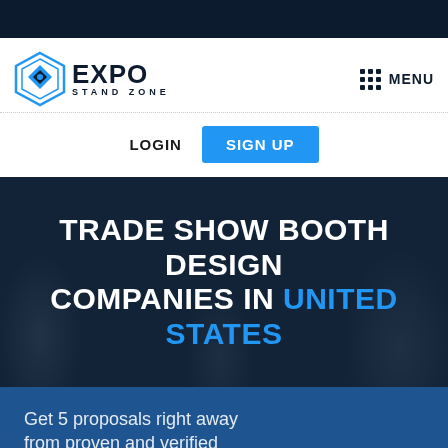[Figure (logo): Expo Stand Zone logo with hexagon icon and text]
MENU
LOGIN
SIGN UP
TRADE SHOW BOOTH DESIGN COMPANIES IN UNITED STATES
Get 5 proposals right away from proven and verified suppliers, analyze them and